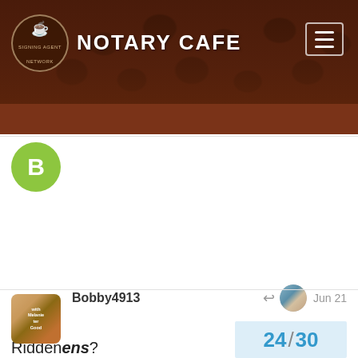NOTARY CAFE
Bobby4913  Jun 21
Riddenens?
GMAFB
VIPnotaryCO  Jun 22
Why are you login in here looking for my p
me. I merely responded to another person
24 / 30